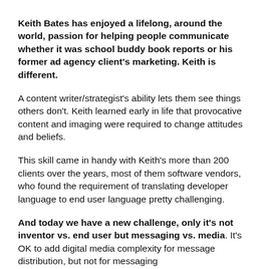Keith Bates has enjoyed a lifelong, around the world, passion for helping people communicate whether it was school buddy book reports or his former ad agency client's marketing. Keith is different.
A content writer/strategist's ability lets them see things others don't. Keith learned early in life that provocative content and imaging were required to change attitudes and beliefs.
This skill came in handy with Keith's more than 200 clients over the years, most of them software vendors, who found the requirement of translating developer language to end user language pretty challenging.
And today we have a new challenge, only it's not inventor vs. end user but messaging vs. media. It's OK to add digital media complexity for message distribution, but not for messaging